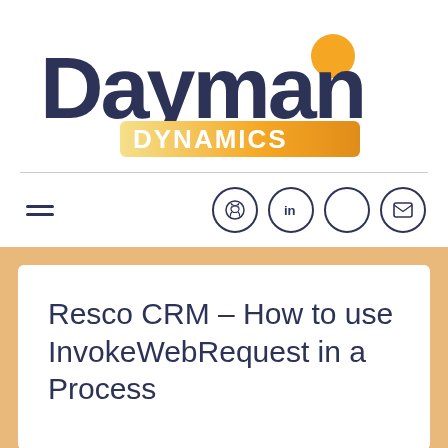[Figure (logo): Dayman Dynamics logo — large dark navy text 'Dayman' with an orange dot above the 'n', and a gradient yellow-to-orange pill shape behind 'DYNAMICS' in white bold text.]
[Figure (other): Navigation bar with hamburger menu icon on left and four circular icon buttons (GitHub cat, LinkedIn, empty circle, envelope) on right.]
Resco CRM – How to use InvokeWebRequest in a Process